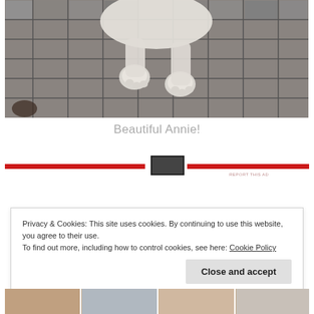[Figure (photo): Photo of a white dog (Annie) sitting on a cobblestone/brick pavement, showing the dog's body and paws from above]
Beautiful Annie!
[Figure (screenshot): Advertisement bar with red horizontal bands and a small thumbnail image in the center, with 'REPORT THIS AD' text below right]
Privacy & Cookies: This site uses cookies. By continuing to use this website, you agree to their use.
To find out more, including how to control cookies, see here: Cookie Policy
[Figure (screenshot): Bottom strip showing thumbnail images of various content]